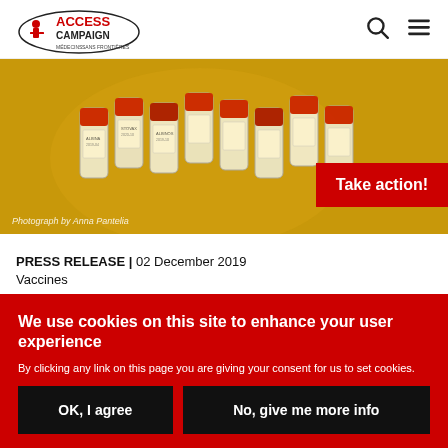ACCESS CAMPAIGN — MSF Médecins Sans Frontières
[Figure (photo): Overhead view of multiple medicine vials with red caps and label text, arranged on a yellow surface. Photograph by Anna Pantelia.]
Take action!
Photograph by Anna Pantelia
PRESS RELEASE | 02 December 2019
Vaccines
We use cookies on this site to enhance your user experience
By clicking any link on this page you are giving your consent for us to set cookies.
OK, I agree
No, give me more info